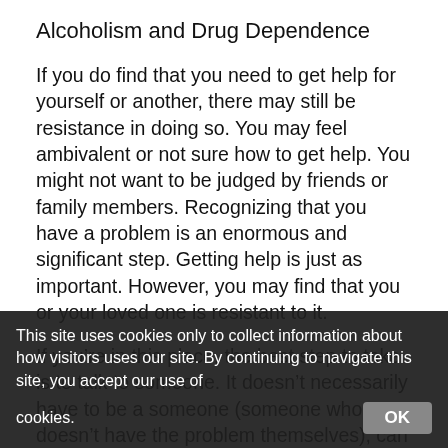Alcoholism and Drug Dependence
If you do find that you need to get help for yourself or another, there may still be resistance in doing so. You may feel ambivalent or not sure how to get help. You might not want to be judged by friends or family members. Recognizing that you have a problem is an enormous and significant step. Getting help is just as important. However, you may find that you or your loved one is resistant to it.
If you’re in this place, the best step to take is to talk to someone. It doesn’t necessarily have to be a someone (someone who doesn’t have the problem themselves), can at least get the process of getting help started.
This site uses cookies only to collect information about how visitors uses our site. By continuing to navigate this site, you accept our use of cookies.  OK